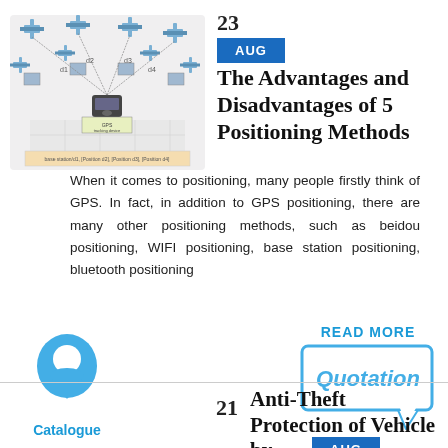[Figure (illustration): Diagram of GPS satellite positioning with satellites above and a GPS tracking device on the ground, showing distance lines labeled d1, d2, d3, d4.]
23
AUG
The Advantages and Disadvantages of 5 Positioning Methods
When it comes to positioning, many people firstly think of GPS. In fact, in addition to GPS positioning, there are many other positioning methods, such as beidou positioning, WIFI positioning, base station positioning, bluetooth positioning
[Figure (illustration): Blue location pin / map marker icon]
Catalogue
READ MORE
[Figure (illustration): Speech bubble / quotation icon in blue outline style with the word Quotation inside]
21
AUG
Anti-Theft Protection of Vehicle by